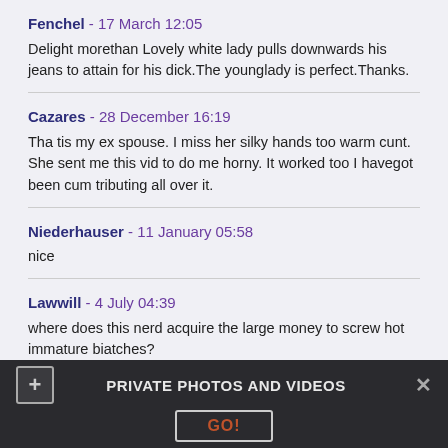Fenchel - 17 March 12:05
Delight morethan Lovely white lady pulls downwards his jeans to attain for his dick.The younglady is perfect.Thanks.
Cazares - 28 December 16:19
Tha tis my ex spouse. I miss her silky hands too warm cunt. She sent me this vid to do me horny. It worked too I havegot been cum tributing all over it.
Niederhauser - 11 January 05:58
nice
Lawwill - 4 July 04:39
where does this nerd acquire the large money to screw hot immature biatches?
PRIVATE PHOTOS AND VIDEOS  GO!